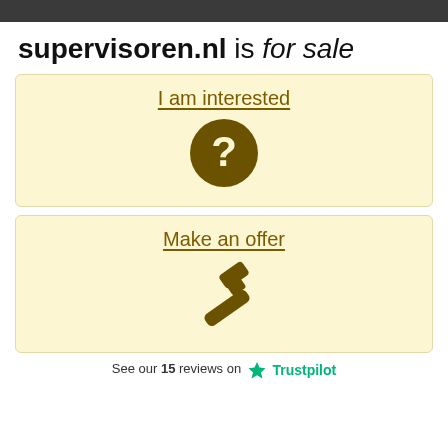supervisoren.nl is for sale
[Figure (illustration): Card with 'I am interested' link and a dark olive question mark circle icon]
[Figure (illustration): Card with 'Make an offer' link and a dark olive gavel/hammer icon]
See our 15 reviews on ★ Trustpilot